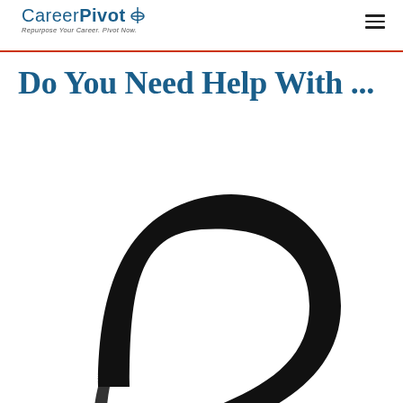CareerPivot – Repurpose Your Career. Pivot Now.
Do You Need Help With ...
[Figure (illustration): Large black question mark symbol cropped, showing the upper curved portion and the beginning of the dot/tail, on a white background.]